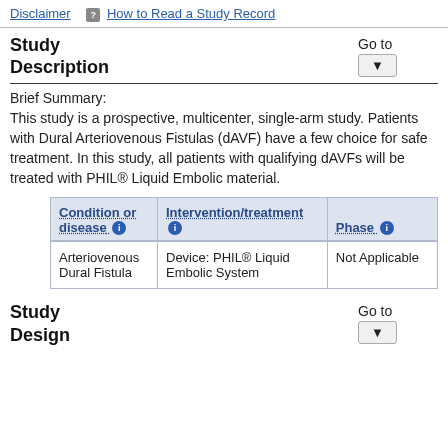Disclaimer  |  ? How to Read a Study Record
Study Description
Brief Summary:
This study is a prospective, multicenter, single-arm study. Patients with Dural Arteriovenous Fistulas (dAVF) have a few choice for safe treatment. In this study, all patients with qualifying dAVFs will be treated with PHIL® Liquid Embolic material.
| Condition or disease ℹ | Intervention/treatment ℹ | Phase ℹ |
| --- | --- | --- |
| Arteriovenous Dural Fistula | Device: PHIL® Liquid Embolic System | Not Applicable |
Study Design